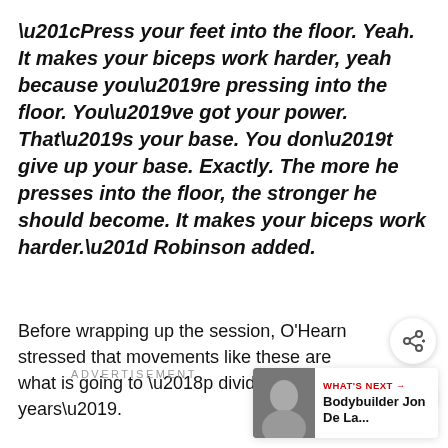“Press your feet into the floor. Yeah. It makes your biceps work harder, yeah because you’re pressing into the floor. You’ve got your power. That’s your base. You don’t give up your base. Exactly. The more he presses into the floor, the stronger he should become. It makes your biceps work harder.” Robinson added.
Before wrapping up the session, O'Hearn stressed that movements like these are what is going to ‘p dividends in 20 years’.
ADVERTISEMENT
WHAT’S NEXT → Bodybuilder Jon De La...